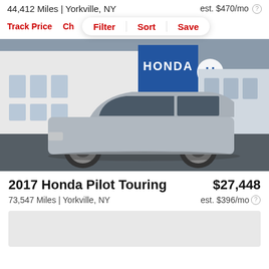44,412 Miles | Yorkville, NY
est. $470/mo
Track Price  Ch...  Filter  Sort  Save
[Figure (photo): Silver Honda Pilot SUV parked in front of a Honda dealership building with blue and white facade, photographed from the side profile.]
2017 Honda Pilot Touring
$27,448
73,547 Miles | Yorkville, NY
est. $396/mo